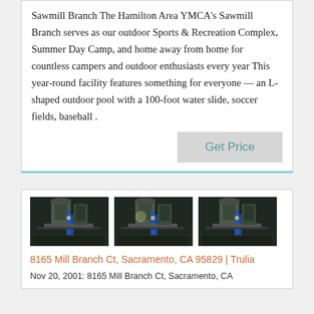Sawmill Branch The Hamilton Area YMCA's Sawmill Branch serves as our outdoor Sports & Recreation Complex, Summer Day Camp, and home away from home for countless campers and outdoor enthusiasts every year This year-round facility features something for everyone — an L-shaped outdoor pool with a 100-foot water slide, soccer fields, baseball .
Get Price
[Figure (photo): Three identical industrial interior photos showing large tanks and blue pipes in a warehouse-like setting]
8165 Mill Branch Ct, Sacramento, CA 95829 | Trulia
Nov 20, 2001: 8165 Mill Branch Ct, Sacramento, CA